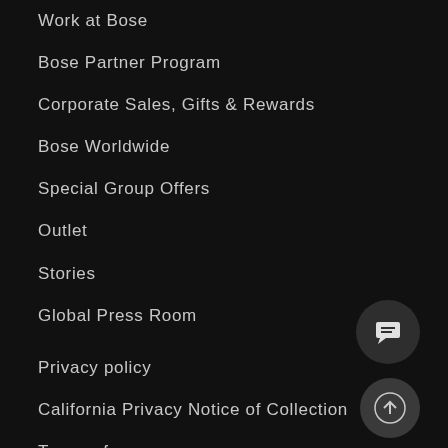Work at Bose
Bose Partner Program
Corporate Sales, Gifts & Rewards
Bose Worldwide
Special Group Offers
Outlet
Stories
Global Press Room
Privacy policy
California Privacy Notice of Collection
Terms of use
Terms of sale
[Figure (illustration): Chat/message button icon - dark circle with speech bubble icon]
[Figure (illustration): Scroll to top button - dark circle with upward arrow icon]